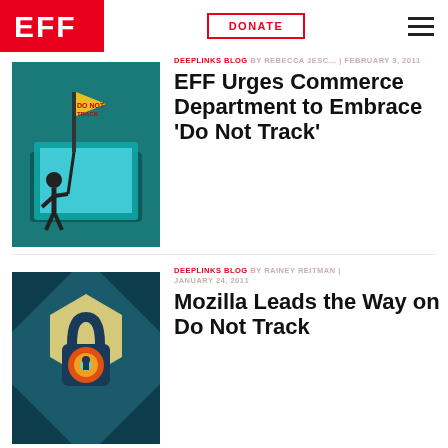[Figure (logo): EFF logo — white letters on red background]
DONATE
[Figure (illustration): Person planting a 'Do Not Track' flag on a laptop — teal background illustration]
DEEPLINKS BLOG BY REBECCA JESC… | FEBRUARY 3, 2011
EFF Urges Commerce Department to Embrace 'Do Not Track'
[Figure (illustration): Padlock icon with concentric orange/red circles on hexagon background — teal/dark teal illustration]
DEEPLINKS BLOG BY RAINEY REITMAN | JANUARY 24, 2011
Mozilla Leads the Way on Do Not Track
[Figure (illustration): Partial illustration — bottom of page, partially visible]
DEEPLINKS BLOG BY RAINEY REITMAN | DECEMBER 1, 2010